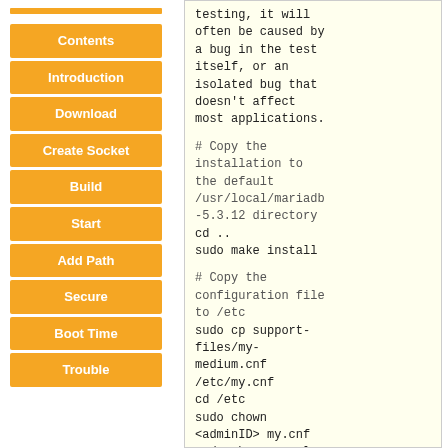Contents
Introduction
Download
Create Socket
Build
Start
Add Path
Secure
Boot Time
Trouble
testing, it will often be caused by a bug in the test itself, or an isolated bug that doesn't affect most applications.

# Copy the installation to the default /usr/local/mariadb-5.3.12 directory
cd ..
sudo make install

# Copy the configuration file to /etc
sudo cp support-files/my-medium.cnf /etc/my.cnf
cd /etc
sudo chown <adminID> my.cnf
sudo chgrp mysql my.cnf